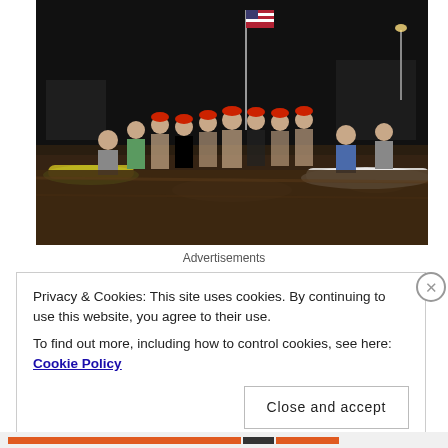[Figure (photo): Group of swimmers in red swim caps standing waist-deep in dark water at night, posing together with kayaks on either side and an American flag visible in the background.]
Advertisements
Privacy & Cookies: This site uses cookies. By continuing to use this website, you agree to their use.
To find out more, including how to control cookies, see here: Cookie Policy
Close and accept